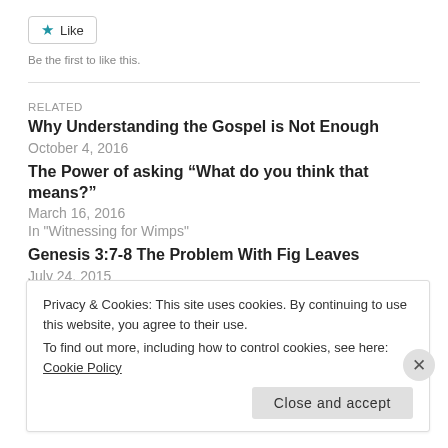[Figure (other): Like button with star icon]
Be the first to like this.
RELATED
Why Understanding the Gospel is Not Enough
October 4, 2016
The Power of asking “What do you think that means?”
March 16, 2016
In "Witnessing for Wimps"
Genesis 3:7-8 The Problem With Fig Leaves
July 24, 2015
Privacy & Cookies: This site uses cookies. By continuing to use this website, you agree to their use.
To find out more, including how to control cookies, see here: Cookie Policy
Close and accept